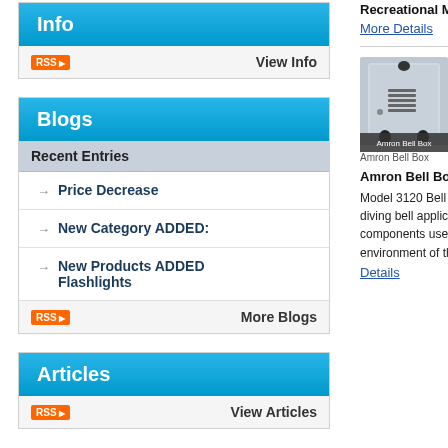Info
RSS  View Info
Blogs
Recent Entries
Price Decrease
New Category ADDED:
New Products ADDED Flashlights
RSS  More Blogs
Articles
RSS  View Articles
Recreational Mesh Vest (Red/Gray)
More Details
[Figure (photo): Amron Bell Box product photo - a silver metal enclosure with connectors]
Amron Bell Box
Amron Bell Box
Model 3120 Bell Box is designed to be used in diving bell applications. Materials and components used are well suited to the environment of the bell. This is a... More Details